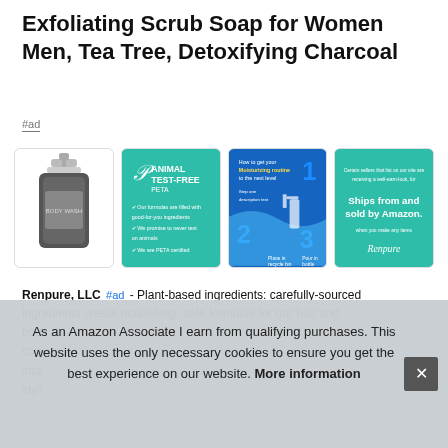Exfoliating Scrub Soap for Women Men, Tea Tree, Detoxifying Charcoal
#ad
[Figure (photo): Four product thumbnail images: 1) product bottle photo on white background, 2) teal card reading ANIMAL TEST-FREE PETA with checklist, 3) blue card showing 1-2-3 moisturizing steps, 4) teal card reading Ships from and sold by Amazon with Renpure signature]
Renpure, LLC #ad - Plant-based ingredients: carefully-sourced ingredients create nourishing, safe formulas for our hair and body care products. Renpure hair care and body care products contain a wide selection of shampoos, conditioners, body wash, body lotion/cream, shave cream, lip balm, styling products and more.
As an Amazon Associate I earn from qualifying purchases. This website uses the only necessary cookies to ensure you get the best experience on our website. More information